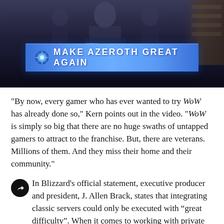[Figure (screenshot): Screenshot of a World of Warcraft video/stream showing a banner that reads 'MAKE AZEROTH GREAT AGAIN' with a blue glowing orb graphic on the left, dark background with a person visible behind a laptop.]
"By now, every gamer who has ever wanted to try WoW has already done so," Kern points out in the video. "WoW is simply so big that there are no huge swaths of untapped gamers to attract to the franchise. But, there are veterans. Millions of them. And they miss their home and their community."
In Blizzard's official statement, executive producer and president, J. Allen Brack, states that integrating classic servers could only be executed with “great difficulty”. When it comes to working with private servers, Brack claimed that there is no "clear legal path